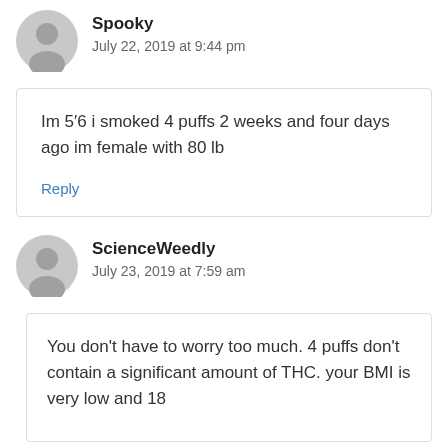Spooky
July 22, 2019 at 9:44 pm
Im 5′6 i smoked 4 puffs 2 weeks and four days ago im female with 80 lb
Reply
ScienceWeedly
July 23, 2019 at 7:59 am
You don’t have to worry too much. 4 puffs don’t contain a significant amount of THC. your BMI is very low and 18...